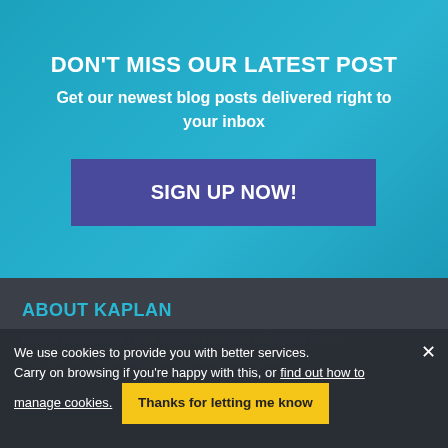DON'T MISS OUR LATEST POST
Get our newest blog posts delivered right to your inbox
SIGN UP NOW!
ABOUT KAPLAN
Kaplan International offers language courses in English, French, Ge... language learning opportunities and...
We use cookies to provide you with better services. Carry on browsing if you're happy with this, or find out how to manage cookies.
Thanks for letting me know